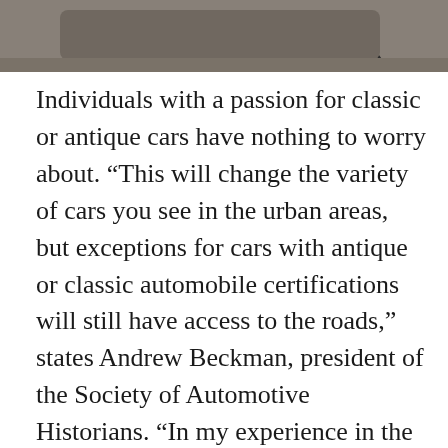[Figure (photo): Partial view of a classic or antique car, showing the lower portion including wheels on a road surface, in black and white or grayscale.]
Individuals with a passion for classic or antique cars have nothing to worry about. “This will change the variety of cars you see in the urban areas, but exceptions for cars with antique or classic automobile certifications will still have access to the roads,” states Andrew Beckman, president of the Society of Automotive Historians. “In my experience in the classic car industry, these restrictions work very well,” says Beckman. “Mindful antique owners don’t really have a problem with it, since they usually aren’t interested in putting many miles on their